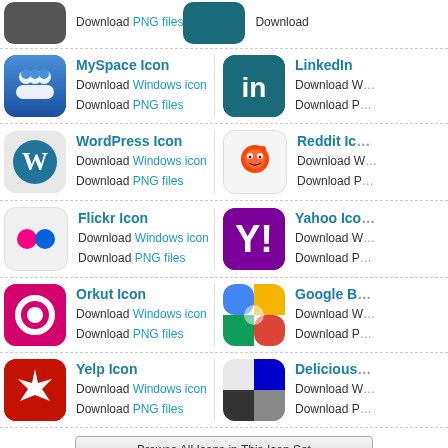Download PNG files (top partial row)
MySpace Icon - Download Windows icon, Download PNG files
LinkedIn Icon - Download Windows icon, Download PNG files
WordPress Icon - Download Windows icon, Download PNG files
Reddit Icon - Download Windows icon, Download PNG files
Flickr Icon - Download Windows icon, Download PNG files
Yahoo Icon - Download Windows icon, Download PNG files
Orkut Icon - Download Windows icon, Download PNG files
Google B... Icon - Download Windows icon, Download PNG files
Yelp Icon - Download Windows icon, Download PNG files
Delicious Icon - Download Windows icon, Download PNG files
Browse All Icons in This Icon Set
Sponsored Links